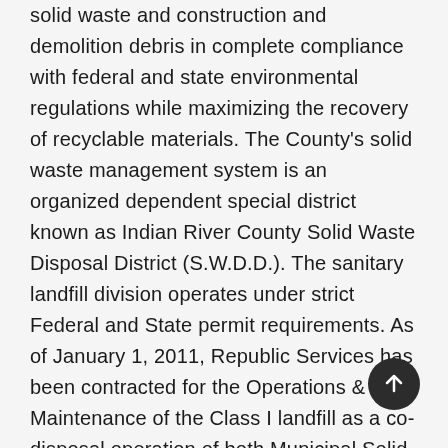solid waste and construction and demolition debris in complete compliance with federal and state environmental regulations while maximizing the recovery of recyclable materials. The County's solid waste management system is an organized dependent special district known as Indian River County Solid Waste Disposal District (S.W.D.D.). The sanitary landfill division operates under strict Federal and State permit requirements. As of January 1, 2011, Republic Services has been contracted for the Operations & Maintenance of the Class I landfill as a co-disposal operation of both Municipal Solid Waste (MSW) and construction & demolition (C&D) debris, the Material Recovery Facility (MRF) for residential and commercial recyclable materials; household hazardous waste management services; environmental compliance and site management. On February 21, 2017, the SWDD Board